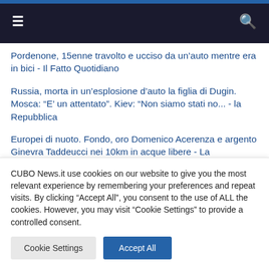≡  🔍
Pordenone, 15enne travolto e ucciso da un'auto mentre era in bici - Il Fatto Quotidiano
Russia, morta in un'esplosione d'auto la figlia di Dugin. Mosca: "E' un attentato". Kiev: "Non siamo stati no... - la Repubblica
Europei di nuoto. Fondo, oro Domenico Acerenza e argento Ginevra Taddeucci nei 10km in acque libere - La premiazione di Domenico Acerenza, medaglia d'oro nella 10 km (Video) - La premiazione di Domenico Acerenza, medaglia d'oro nella 10 km (Video - RaiNews
CUBO News.it use cookies on our website to give you the most relevant experience by remembering your preferences and repeat visits. By clicking “Accept All”, you consent to the use of ALL the cookies. However, you may visit "Cookie Settings" to provide a controlled consent.